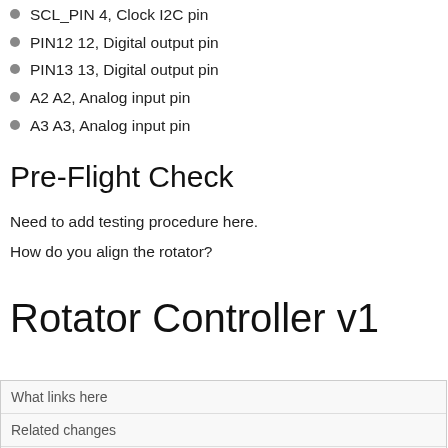SCL_PIN 4, Clock I2C pin
PIN12 12, Digital output pin
PIN13 13, Digital output pin
A2 A2, Analog input pin
A3 A3, Analog input pin
Pre-Flight Check
Need to add testing procedure here.
How do you align the rotator?
Rotator Controller v1
What links here
Related changes
Special pages